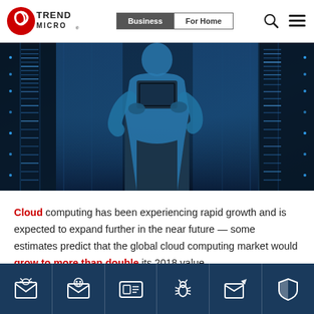[Figure (logo): Trend Micro logo with red swirl icon and TREND MICRO text]
Business | For Home (navigation with search and menu icons)
[Figure (photo): Person in blue shirt holding a laptop standing in front of server racks in a dark data center, illuminated with blue lighting]
Cloud computing has been experiencing rapid growth and is expected to expand further in the near future — some estimates predict that the global cloud computing market would grow to more than double its 2018 value
[Figure (infographic): Footer icon bar with 6 dark blue cells containing white icons: envelope with bug, skull envelope, ID card, bug/insect, envelope with pen, and shield]